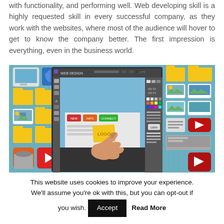with functionality, and performing well. Web developing skill is a highly requested skill in every successful company, as they work with the websites, where most of the audience will hover to get to know the company better. The first impression is everything, even in the business world.
[Figure (illustration): A web design illustration showing a monitor screen with a web design application open, surrounded by floating UI icons including folders, music, video, and image thumbnails. A hand is placing a yellow 'LOGO' sticky note on the screen.]
This website uses cookies to improve your experience. We'll assume you're ok with this, but you can opt-out if you wish. Accept Read More